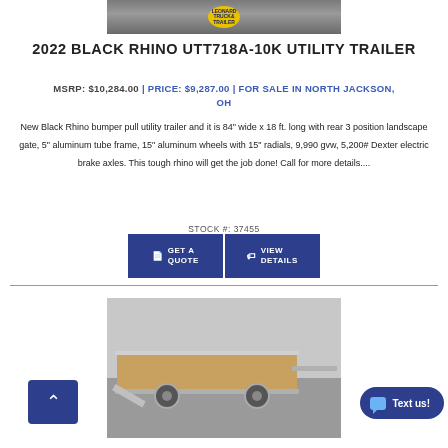[Figure (photo): Partial top view of a Black Rhino utility trailer with Leonard Truck & Trailers badge visible]
2022 BLACK RHINO UTT718A-10K UTILITY TRAILER
MSRP: $10,284.00 | PRICE: $9,287.00 | FOR SALE IN NORTH JACKSON, OH
New Black Rhino bumper pull utility trailer and it is 84" wide x 18 ft. long with rear 3 position landscape gate, 5" aluminum tube frame, 15" aluminum wheels with 15" radials, 9,990 gvw, 5,200# Dexter electric brake axles. This tough rhino will get the job done! Call for more details....
STOCK #: 37455
[Figure (photo): Aluminum utility trailer with wood deck floor and rear gate open, Leonard Truck & Trailers badge visible at bottom]